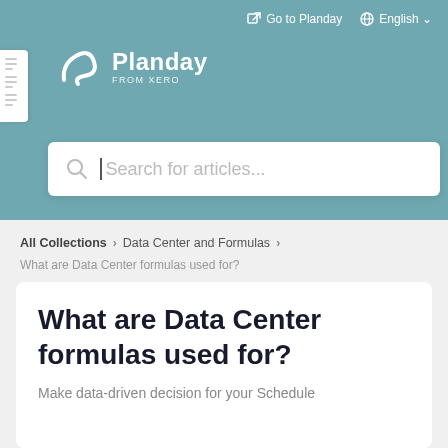Go to Planday   English
[Figure (logo): Planday from Xero logo — white stylized 'P' icon with 'Planday' text and 'FROM XERO' subtitle on teal background]
Search for articles...
All Collections > Data Center and Formulas
What are Data Center formulas used for?
What are Data Center formulas used for?
Make data-driven decision for your Schedule